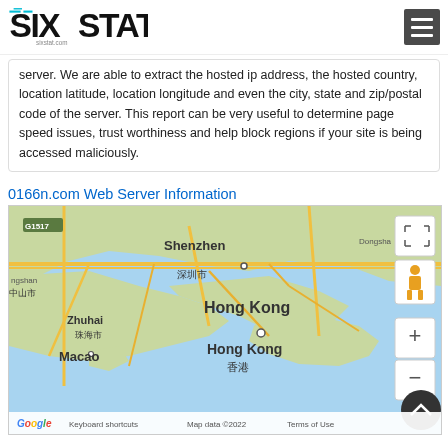SIXSTAT
server. We are able to extract the hosted ip address, the hosted country, location latitude, location longitude and even the city, state and zip/postal code of the server. This report can be very useful to determine page speed issues, trust worthiness and help block regions if your site is being accessed maliciously.
0166n.com Web Server Information
[Figure (map): Google Map showing Shenzhen, Hong Kong, Macao, Zhuhai area in China with map controls (zoom, street view, fullscreen)]